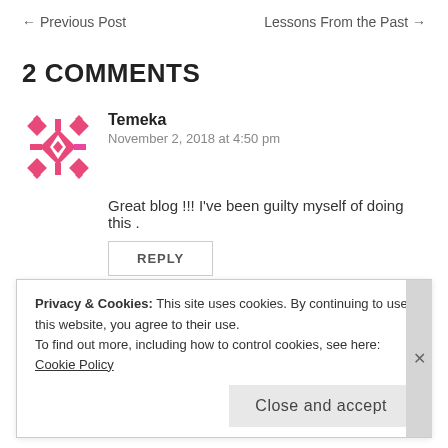← Previous Post    Lessons From the Past →
2 COMMENTS
Temeka
November 2, 2018 at 4:50 pm
Great blog !!! I've been guilty myself of doing this .
REPLY
Privacy & Cookies: This site uses cookies. By continuing to use this website, you agree to their use.
To find out more, including how to control cookies, see here: Cookie Policy
Close and accept